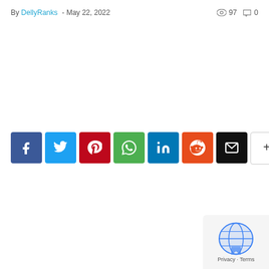By DellyRanks - May 22, 2022
97 views  0 comments
[Figure (other): Social sharing buttons: Facebook, Twitter, Pinterest, WhatsApp, LinkedIn, Reddit, Email, More (+)]
[Figure (other): Google reCAPTCHA badge in bottom-right corner with globe icon and Privacy - Terms text]